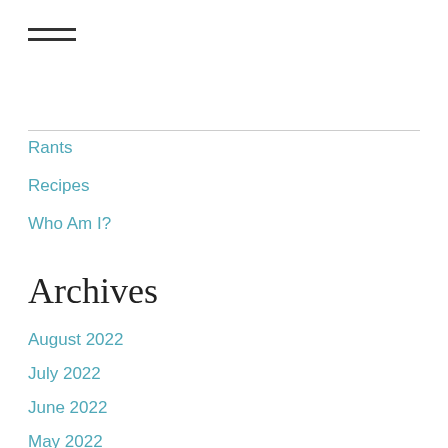[Figure (other): Hamburger menu icon with three horizontal lines]
Rants
Recipes
Who Am I?
Archives
August 2022
July 2022
June 2022
May 2022
April 2022
March 2022
February 2022
January 2022
December 2021
November 2021
October 2021
September 2021